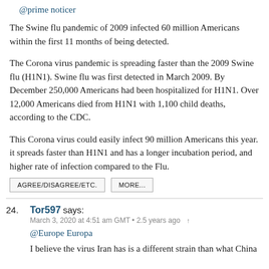@prime noticer
The Swine flu pandemic of 2009 infected 60 million Americans within the first 11 months of being detected.
The Corona virus pandemic is spreading faster than the 2009 Swine flu (H1N1). Swine flu was first detected in March 2009. By December 250,000 Americans had been hospitalized for H1N1. Over 12,000 Americans died from H1N1 with 1,100 child deaths, according to the CDC.
This Corona virus could easily infect 90 million Americans this year. it spreads faster than H1N1 and has a longer incubation period, and higher rate of infection compared to the Flu.
AGREE/DISAGREE/ETC.
MORE...
24. Tor597 says: March 3, 2020 at 4:51 am GMT • 2.5 years ago
@Europe Europa
I believe the virus Iran has is a different strain than what China